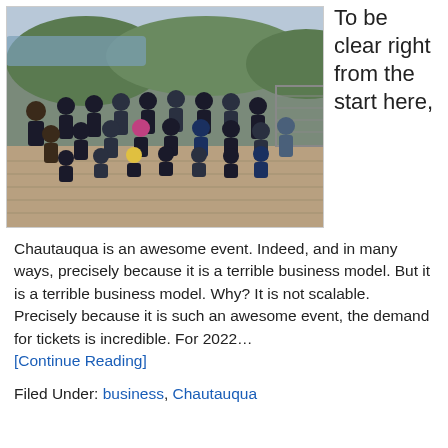[Figure (photo): Group photo of approximately 30 people posing on a wooden deck with a scenic lake and forested hills in the background. People are mostly wearing dark shirts.]
To be clear right from the start here,
Chautauqua is an awesome event. Indeed, and in many ways, precisely because it is a terrible business model. But it is a terrible business model. Why? It is not scalable. Precisely because it is such an awesome event, the demand for tickets is incredible. For 2022… [Continue Reading]
Filed Under: business, Chautauqua